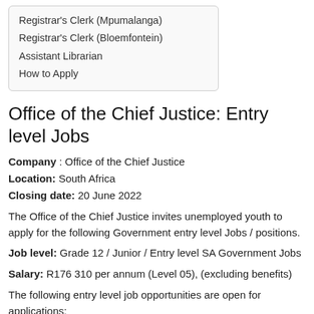Registrar’s Clerk (Mpumalanga)
Registrar’s Clerk (Bloemfontein)
Assistant Librarian
How to Apply
Office of the Chief Justice: Entry level Jobs
Company : Office of the Chief Justice
Location: South Africa
Closing date: 20 June 2022
The Office of the Chief Justice invites unemployed youth to apply for the following Government entry level Jobs / positions.
Job level: Grade 12 / Junior / Entry level SA Government Jobs
Salary: R176 310 per annum (Level 05), (excluding benefits)
The following entry level job opportunities are open for applications: